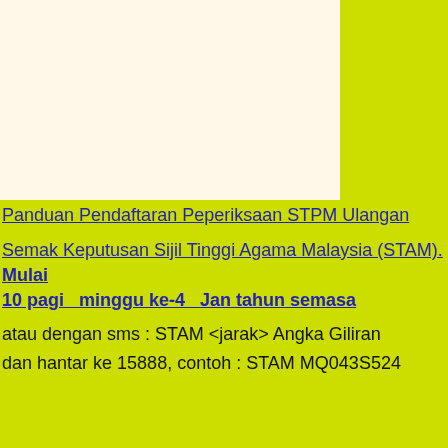[Figure (other): Cream/off-white rectangular area occupying the top-left portion of the page on a yellow-green background]
Panduan Pendaftaran Peperiksaan STPM Ulangan
Semak Keputusan Sijil Tinggi Agama Malaysia (STAM). Mulai 10 pagi  minggu ke-4  Jan tahun semasa
atau dengan sms : STAM <jarak> Angka Giliran
dan hantar ke 15888, contoh : STAM MQ043S524